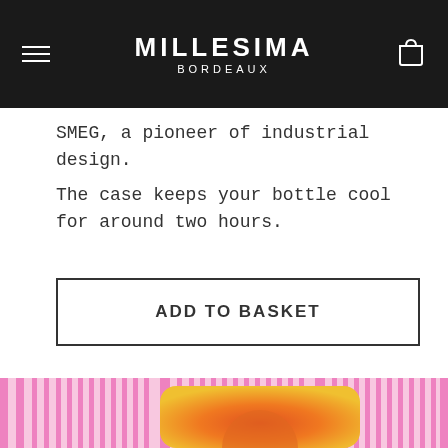MILLESIMA BORDEAUX
SMEG, a pioneer of industrial design.
The case keeps your bottle cool for around two hours.
ADD TO BASKET
[Figure (illustration): Decorative product image with pink vertical stripes background and an orange/yellow rounded rectangle with a circular gradient shape inside.]